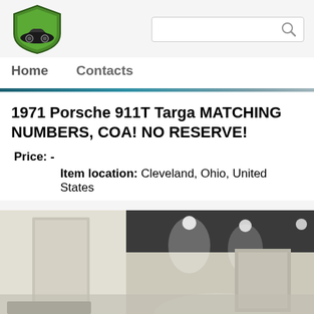[Figure (logo): Classic car dealership shield logo with vintage car illustration in green and black]
[Figure (screenshot): Search box with magnifying glass icon]
Home   Contacts
1971 Porsche 911T Targa MATCHING NUMBERS, COA! NO RESERVE!
Price: -
Item location: Cleveland, Ohio, United States
[Figure (photo): Interior of a garage or showroom with white walls, ceiling spotlights, and what appears to be vehicles]